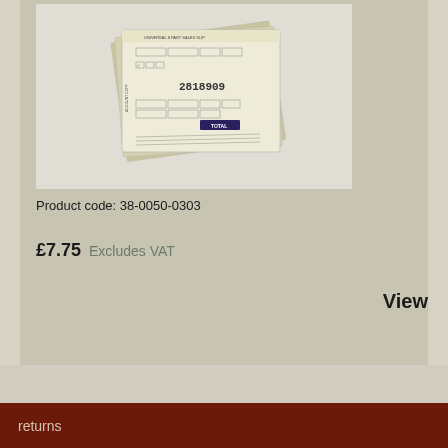[Figure (photo): A stack of Universal 8-part sales slips/receipt pads fanned out, showing printed form fields and a barcode number 2818909]
Product code: 38-0050-0303
£7.75 Excludes VAT
View
returns